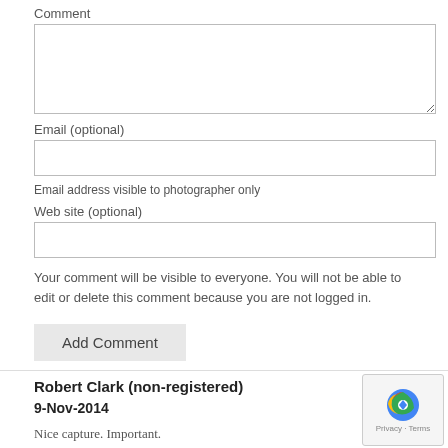Comment
[Figure (screenshot): Comment textarea input field (empty)]
Email (optional)
[Figure (screenshot): Email input field (empty)]
Email address visible to photographer only
Web site (optional)
[Figure (screenshot): Web site input field (empty)]
Your comment will be visible to everyone. You will not be able to edit or delete this comment because you are not logged in.
[Figure (screenshot): Add Comment button]
Robert Clark (non-registered)
9-Nov-2014
Nice capture. Important.
[Figure (logo): reCAPTCHA badge with Privacy and Terms links]